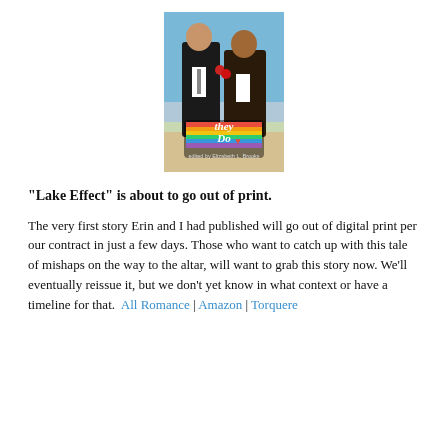[Figure (photo): Book cover of 'They Do' edited by Elizabeth L. Brooks, showing two men in suits on a beach, one kissing the other on the cheek, with a rainbow-colored heart and title text overlay.]
“Lake Effect” is about to go out of print.
The very first story Erin and I had published will go out of digital print per our contract in just a few days. Those who want to catch up with this tale of mishaps on the way to the altar, will want to grab this story now. We’ll eventually reissue it, but we don’t yet know in what context or have a timeline for that.  All Romance | Amazon | Torquere